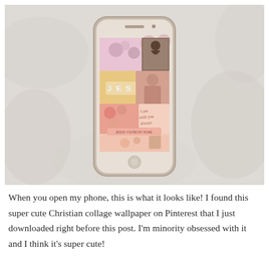[Figure (photo): A smartphone with a gold/rose-gold transparent case lying on a white fabric background. The phone screen displays a pink Christian aesthetic collage wallpaper featuring the word 'JESUS', flowers, a person, and various inspirational text including 'I am with you always' and 'Jesus you're my home'.]
When you open my phone, this is what it looks like! I found this super cute Christian collage wallpaper on Pinterest that I just downloaded right before this post. I'm minority obsessed with it and I think it's super cute!